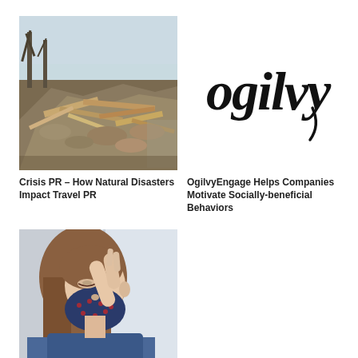[Figure (photo): Tornado disaster debris — destroyed building with fallen trees and wreckage]
[Figure (logo): Ogilvy logo in handwritten/calligraphic black script]
Crisis PR – How Natural Disasters Impact Travel PR
OgilvyEngage Helps Companies Motivate Socially-beneficial Behaviors
[Figure (photo): Young girl wearing a face mask looking out a window, side profile view]